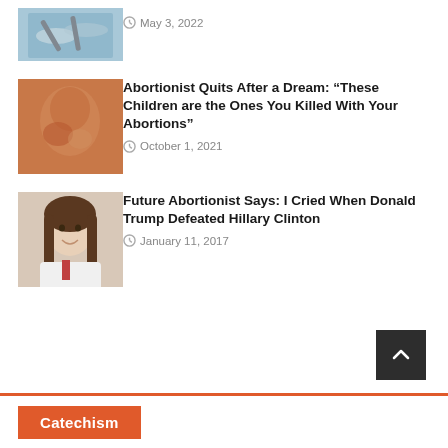[Figure (photo): Partial view of scissors on blue/teal background, top cropped]
May 3, 2022
[Figure (photo): Close-up of a fetal hand/face in warm tones]
Abortionist Quits After a Dream: “These Children are the Ones You Killed With Your Abortions”
October 1, 2021
[Figure (photo): Smiling young woman with long brown hair, white coat]
Future Abortionist Says: I Cried When Donald Trump Defeated Hillary Clinton
January 11, 2017
Catechism